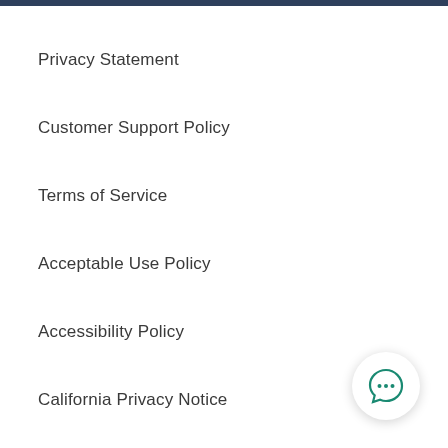Privacy Statement
Customer Support Policy
Terms of Service
Acceptable Use Policy
Accessibility Policy
California Privacy Notice
[Figure (illustration): Chat bubble icon with three dots, indicating a live chat or support widget, positioned in the bottom-right corner]